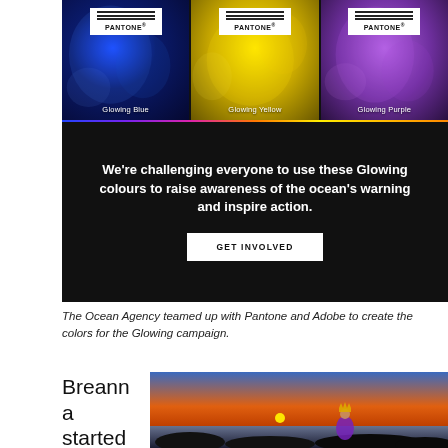[Figure (photo): Three Pantone color panels on dark background: Glowing Blue (blue coral), Glowing Yellow (yellow coral), Glowing Purple (purple coral)]
[Figure (infographic): Dark section with rainbow horizontal line, bold white challenge text, and GET INVOLVED button]
The Ocean Agency teamed up with Pantone and Adobe to create the colors for the Glowing campaign.
Breanna started her Glowing
[Figure (photo): Woman in purple body paint with crown sitting on rocks at sunset by the ocean]